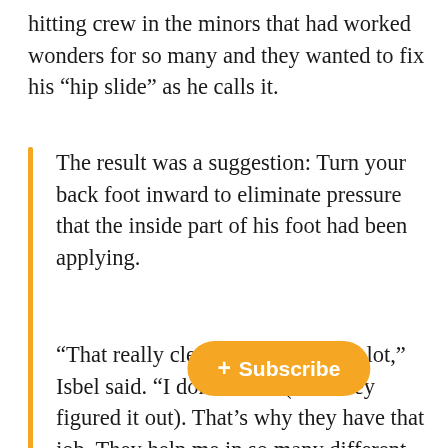hitting crew in the minors that had worked wonders for so many and they wanted to fix his “hip slide” as he calls it.
The result was a suggestion: Turn your back foot inward to eliminate pressure that the inside part of his foot had been applying.
“That really cleaned up my path a lot,” Isbel said. “I don’t know (how they figured it out). That’s why they have that job. They help me in so many different ways. They’re amazing. Seriously. I’m so thankful.”
It’s pretty clear in the above video and shots what he did differently. My tho... that I like his actual swing a lot, b... especially thought about how his setup might
[Figure (other): A yellow/orange pill-shaped Subscribe button overlay with a plus icon and the text '+ Subscribe']